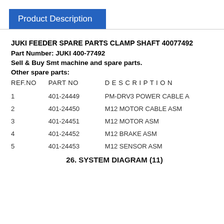Product Description
JUKI FEEDER SPARE PARTS CLAMP SHAFT 40077492
Part Number: JUKI 400-77492
Sell & Buy Smt machine and spare parts.
Other spare parts:
| REF.NO | PART NO | DESCRIPTION |
| --- | --- | --- |
| 1 | 401-24449 | PM-DRV3 POWER CABLE A |
| 2 | 401-24450 | M12 MOTOR CABLE ASM |
| 3 | 401-24451 | M12 MOTOR ASM |
| 4 | 401-24452 | M12 BRAKE ASM |
| 5 | 401-24453 | M12 SENSOR ASM |
26. SYSTEM DIAGRAM (11)